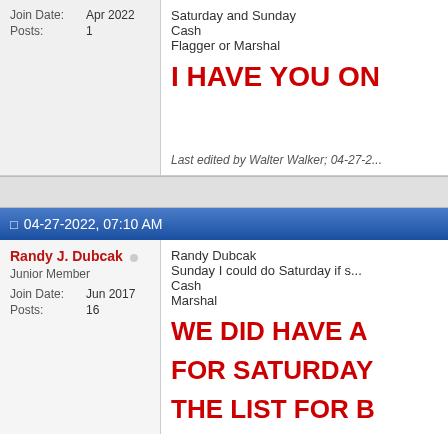Join Date: Apr 2022
Posts: 1
Saturday and Sunday
Cash
Flagger or Marshal
I HAVE YOU ON
Last edited by Walter Walker; 04-27-2...
04-27-2022, 07:10 AM
Randy J. Dubcak
Junior Member
Join Date: Jun 2017
Posts: 16
Randy Dubcak
Sunday I could do Saturday if s...
Cash
Marshal
WE DID HAVE A... FOR SATURDAY... THE LIST FOR B...